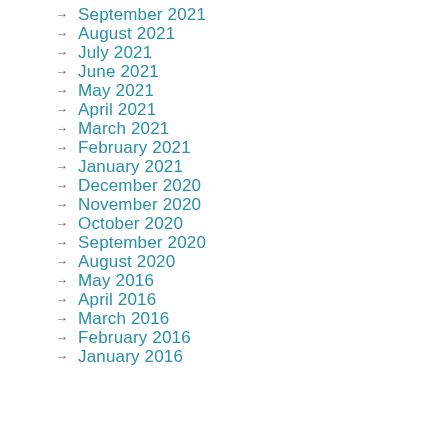September 2021
August 2021
July 2021
June 2021
May 2021
April 2021
March 2021
February 2021
January 2021
December 2020
November 2020
October 2020
September 2020
August 2020
May 2016
April 2016
March 2016
February 2016
January 2016